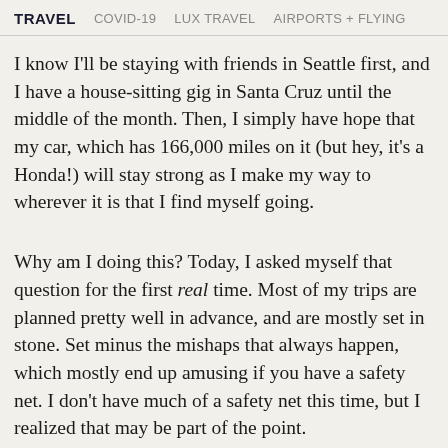TRAVEL   COVID-19   LUX TRAVEL   AIRPORTS + FLYING
I know I'll be staying with friends in Seattle first, and I have a house-sitting gig in Santa Cruz until the middle of the month. Then, I simply have hope that my car, which has 166,000 miles on it (but hey, it's a Honda!) will stay strong as I make my way to wherever it is that I find myself going.
Why am I doing this? Today, I asked myself that question for the first real time. Most of my trips are planned pretty well in advance, and are mostly set in stone. Set minus the mishaps that always happen, which mostly end up amusing if you have a safety net. I don't have much of a safety net this time, but I realized that may be part of the point.